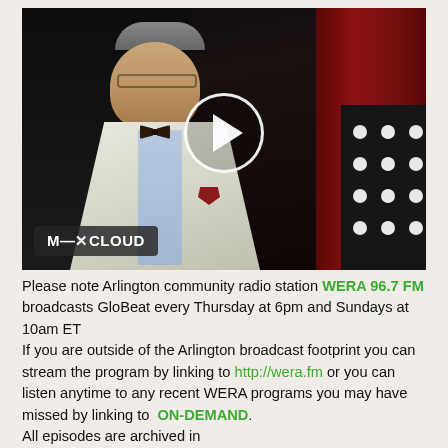[Figure (photo): A man in a white jacket and dark bow tie, with a red curtain in the background and a polka-dot item on the right. A play button circle is overlaid in the center. Mixcloud logo badge is in the lower left corner of the image.]
Please note Arlington community radio station WERA 96.7 FM broadcasts GloBeat every Thursday at 6pm and Sundays at 10am ET
If you are outside of the Arlington broadcast footprint you can stream the program by linking to http://wera.fm or you can listen anytime to any recent WERA programs you may have missed by linking to ON-DEMAND.
All episodes are archived in